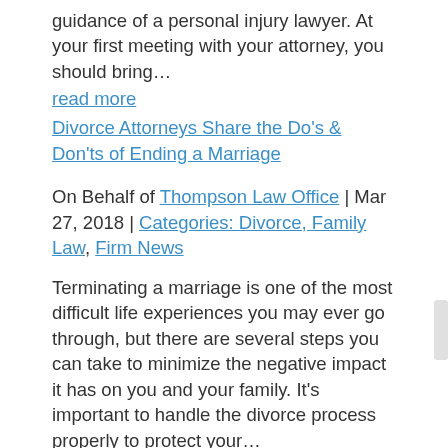guidance of a personal injury lawyer. At your first meeting with your attorney, you should bring…
read more
Divorce Attorneys Share the Do's & Don'ts of Ending a Marriage
On Behalf of Thompson Law Office | Mar 27, 2018 | Categories: Divorce, Family Law, Firm News
Terminating a marriage is one of the most difficult life experiences you may ever go through, but there are several steps you can take to minimize the negative impact it has on you and your family. It's important to handle the divorce process properly to protect your…
read more